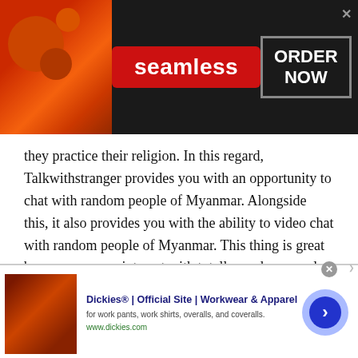[Figure (screenshot): Seamless food ordering advertisement banner with pizza image on left, red 'seamless' badge in center, and 'ORDER NOW' button on right against dark background]
they practice their religion. In this regard, Talkwithstranger provides you with an opportunity to chat with random people of Myanmar. Alongside this, it also provides you with the ability to video chat with random people of Myanmar. This thing is great because you can interact with totally random people.
These random people could be maybe the richest of Myanmar or the poorest of Myanmar. So, you have a
[Figure (screenshot): Dickies workwear advertisement banner showing leather chair image, bold title text, description, website URL and navigation arrow button]